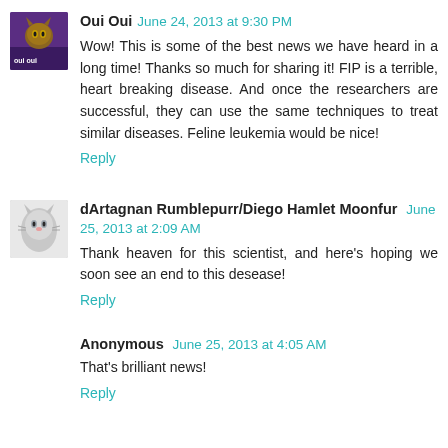Oui Oui June 24, 2013 at 9:30 PM
Wow! This is some of the best news we have heard in a long time! Thanks so much for sharing it! FIP is a terrible, heart breaking disease. And once the researchers are successful, they can use the same techniques to treat similar diseases. Feline leukemia would be nice!
Reply
dArtagnan Rumblepurr/Diego Hamlet Moonfur June 25, 2013 at 2:09 AM
Thank heaven for this scientist, and here's hoping we soon see an end to this desease!
Reply
Anonymous June 25, 2013 at 4:05 AM
That's brilliant news!
Reply